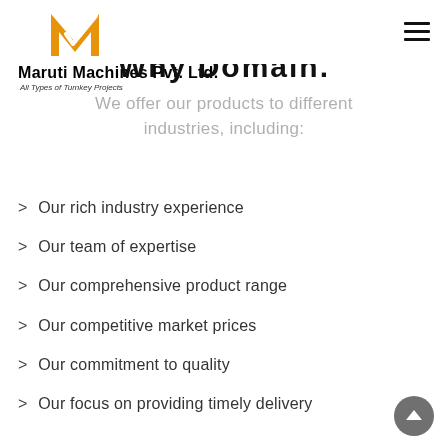[Figure (logo): Maruti Machines Pvt. Ltd. orange and white M logo with checkmark]
Maruti Machines Pvt. Ltd.
All Types of Turnkey Projects
Why Domain:
We offer our products to different industries, including:
> Our rich industry experience
> Our team of expertise
> Our comprehensive product range
> Our competitive market prices
> Our commitment to quality
> Our focus on providing timely delivery